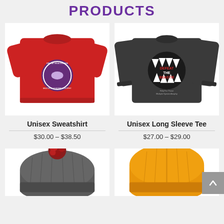PRODUCTS
[Figure (photo): Red unisex sweatshirt with circular purple logo]
Unisex Sweatshirt
$30.00 – $38.50
[Figure (photo): Dark gray unisex long sleeve tee with monster mouth graphic and text 'DEFEAT THE BEASTIE']
Unisex Long Sleeve Tee
$27.00 – $29.00
[Figure (photo): Gray pom-pom beanie hat with red pom]
[Figure (photo): Gold/yellow beanie hat]